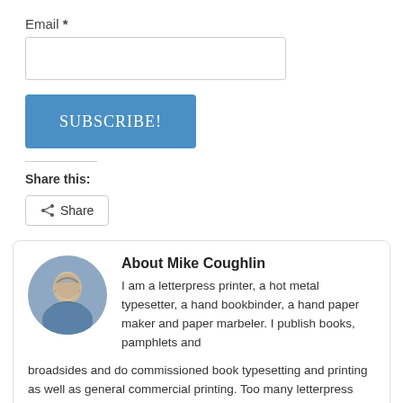Email *
[Figure (other): Email input text field, empty, with border]
[Figure (other): Blue subscribe button labeled SUBSCRIBE!]
Share this:
[Figure (other): Share button with share icon]
About Mike Coughlin
I am a letterpress printer, a hot metal typesetter, a hand bookbinder, a hand paper maker and paper marbeler. I publish books, pamphlets and broadsides and do commissioned book typesetting and printing as well as general commercial printing. Too many letterpress printers want to take your first child in ransom for working with you. Mind you, some first children might be good to be rid of, but